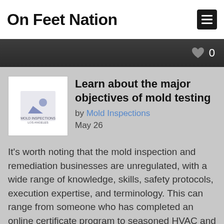On Feet Nation
Learn about the major objectives of mold testing
by Mold Inspections
May 26
It's worth noting that the mold inspection and remediation businesses are unregulated, with a wide range of knowledge, skills, safety protocols, execution expertise, and terminology. This can range from someone who has completed an online certificate program to seasoned HVAC and remediation professionals, as well as highly educated building biologists and Ph.D. level hygiene experts. There are good and bad mold professionals, just as there are good and bad doctors and lawyers. It's a normal distribution, which implies there are few very good ones and most professionals fall somewhere in the